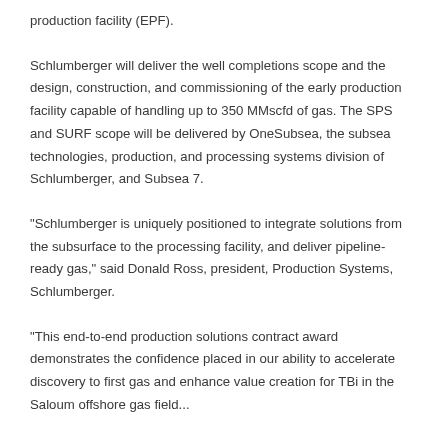production facility (EPF).
Schlumberger will deliver the well completions scope and the design, construction, and commissioning of the early production facility capable of handling up to 350 MMscfd of gas. The SPS and SURF scope will be delivered by OneSubsea, the subsea technologies, production, and processing systems division of Schlumberger, and Subsea 7.
“Schlumberger is uniquely positioned to integrate solutions from the subsurface to the processing facility, and deliver pipeline-ready gas,” said Donald Ross, president, Production Systems, Schlumberger.
“This end-to-end production solutions contract award demonstrates the confidence placed in our ability to accelerate discovery to first gas and enhance value creation for TBi in the Saloum offshore gas field...